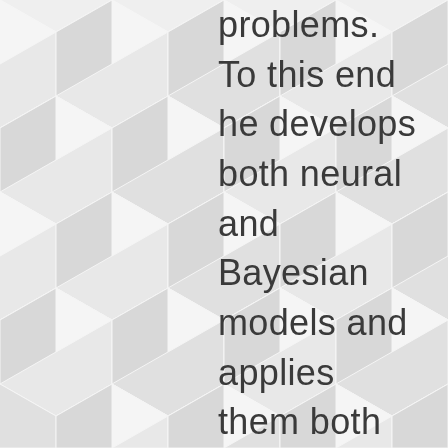problems. To this end he develops both neural and Bayesian models and applies them both in physical, e.g. robots, and virtual, e.g. social media, settings. Before joining Milano Bicocca University, he was at